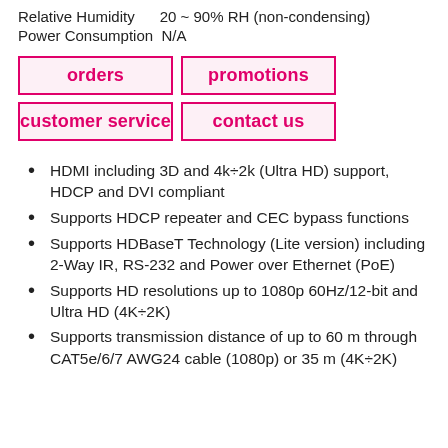Relative Humidity    20 ~ 90% RH (non-condensing)
Power Consumption  N/A
| orders | promotions |
| customer service | contact us |
HDMI including 3D and 4k÷2k (Ultra HD) support, HDCP and DVI compliant
Supports HDCP repeater and CEC bypass functions
Supports HDBaseT Technology (Lite version) including 2-Way IR, RS-232 and Power over Ethernet (PoE)
Supports HD resolutions up to 1080p 60Hz/12-bit and Ultra HD (4K÷2K)
Supports transmission distance of up to 60 m through CAT5e/6/7 AWG24 cable (1080p) or 35 m (4K÷2K)